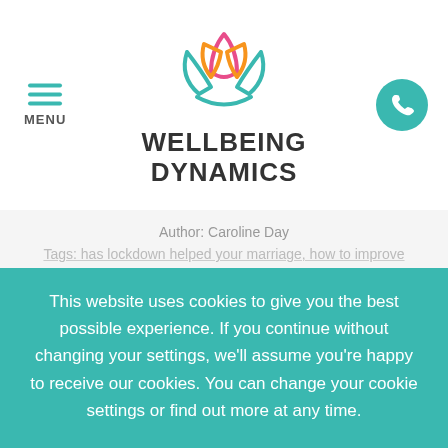[Figure (logo): Wellbeing Dynamics logo with stylized lotus/leaf flower in teal, orange and pink above the text WELLBEING DYNAMICS in bold dark letters]
Author: Caroline Day
Tags: has lockdown helped your marriage, how to improve your relationship, tips for improving your marriage, tips to improve your relationship
Did you see the headline that suggested lockdown has benefitted some marriages? Want some tips on how it
This website uses cookies to give you the best possible experience. If you continue without changing your settings, we'll assume you're happy to receive our cookies. You can change your cookie settings or find out more at any time.